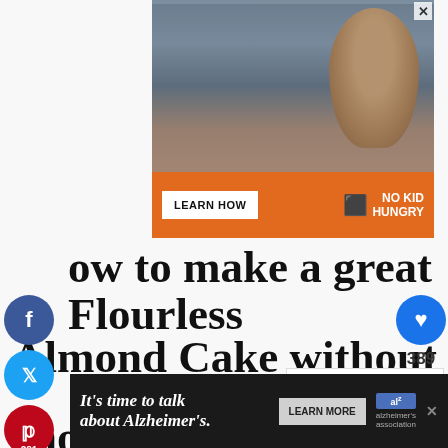[Figure (photo): Advertisement banner: No Kid Hungry. Photo of a young boy eating. Orange bar with 'LEARN HOW' button and No Kid Hungry logo. Text overlay: 'You can help hungry kids.']
[Figure (infographic): Social media sharing sidebar on left: Facebook, Twitter, Pinterest (381), WhatsApp, Email buttons]
[Figure (infographic): Right sidebar: heart/like button with count 389, share button]
how to make a great Flourless Almond Cake without chocolate:
[Figure (photo): What's Next panel: Triple Lemon Yogurt Poun... with thumbnail of cake]
[Figure (photo): Bottom advertisement banner: It's time to talk about Alzheimer's. LEARN MORE. Alzheimer's association logo.]